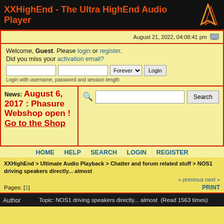XXHighEnd - The Ultra HighEnd Audio Player
August 21, 2022, 04:08:41 pm
Welcome, Guest. Please login or register. Did you miss your activation email?
Login with username, password and session length
News: August 6, 2017 : Phasure Webshop open ! Go to the Shop
HOME   HELP   SEARCH   LOGIN   REGISTER
XXHighEnd > Ultimate Audio Playback > Chatter and forum related stuff > NOS1 driving speakers directly... almost
« previous next »
Pages: [1]
PRINT
Author   Topic: NOS1 driving speakers directly... almost  (Read 1563 times)